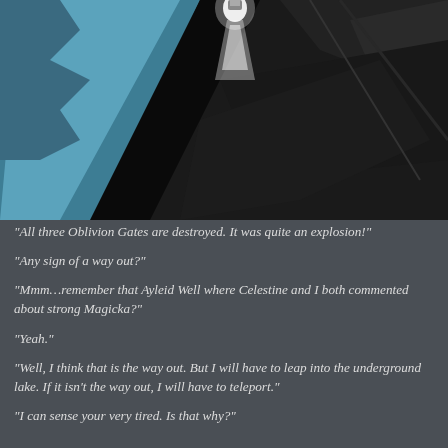[Figure (illustration): A composite game screenshot showing two scenes: left side shows a blue water/sky area with a glowing figure at the top, right side shows dark rocky mountain terrain. A diagonal black split divides the two scenes.]
“All three Oblivion Gates are destroyed. It was quite an explosion!”
“Any sign of a way out?”
“Mmm…remember that Ayleid Well where Celestine and I both commented about strong Magicka?”
“Yeah.”
“Well, I think that is the way out. But I will have to leap into the underground lake. If it isn’t the way out, I will have to teleport.”
“I can sense your very tired. Is that why?”